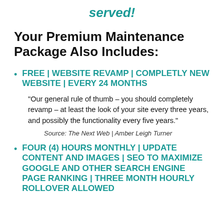served!
Your Premium Maintenance Package Also Includes:
FREE | WEBSITE REVAMP | COMPLETLY NEW WEBSITE | EVERY 24 MONTHS
"Our general rule of thumb – you should completely revamp – at least the look of your site every three years, and possibly the functionality every five years."
Source: The Next Web | Amber Leigh Turner
FOUR (4) HOURS MONTHLY | UPDATE CONTENT AND IMAGES | SEO TO MAXIMIZE GOOGLE AND OTHER SEARCH ENGINE PAGE RANKING | THREE MONTH HOURLY ROLLOVER ALLOWED